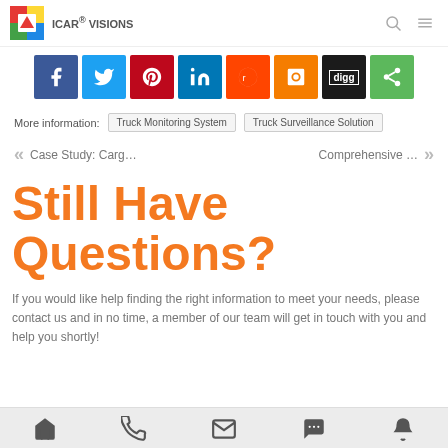ICAR® VISIONS
[Figure (infographic): Social media sharing buttons: Facebook, Twitter, Pinterest, LinkedIn, Reddit, Blogger, Digg, Share]
More information: Truck Monitoring System | Truck Surveillance Solution
« Case Study: Carg...    Comprehensive ... »
Still Have Questions?
If you would like help finding the right information to meet your needs, please contact us and in no time, a member of our team will get in touch with you and help you shortly!
[Figure (infographic): Bottom navigation bar with home, phone, email, chat, and notification icons]